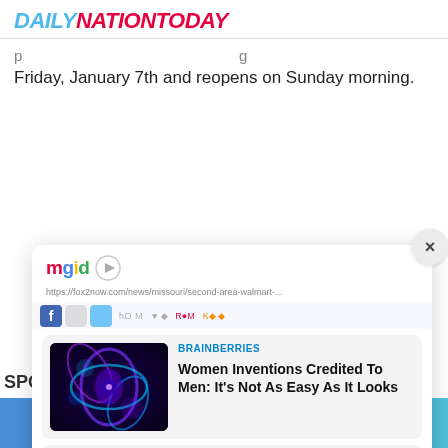DAILYNATIONTODAY
Friday, January 7th and reopens on Sunday morning.
[Figure (screenshot): MGID recommendation widget showing two article cards: 1) 'Women Inventions Credited To Men: It's Not As Easy As It Looks' from BRAINBERRIES with a microscopic blue-purple image thumbnail; 2) '8 Most Expensive Mistakes In History' from BRAINBERRIES with a map of Alaska thumbnail. Widget has a close (X) button and MGID logo with play icon.]
Facebook and Twitter share buttons in a blue gradient bar